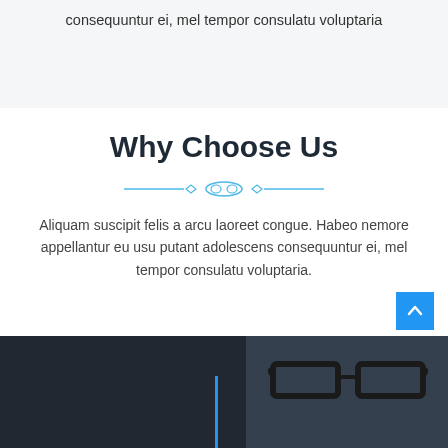consequuntur ei, mel tempor consulatu voluptaria
Why Choose Us
[Figure (illustration): Decorative divider with blue horizontal lines and a small ornamental shape in the center]
Aliquam suscipit felis a arcu laoreet congue. Habeo nemore appellantur eu usu putant adolescens consequuntur ei, mel tempor consulatu voluptaria.
[Figure (photo): Dark-toned photo of a person wearing glasses with a vertical blue line overlay element and a blue scroll-to-top button in the bottom right corner]